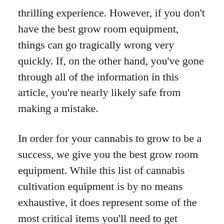thrilling experience. However, if you don't have the best grow room equipment, things can go tragically wrong very quickly. If, on the other hand, you've gone through all of the information in this article, you're nearly likely safe from making a mistake.
In order for your cannabis to grow to be a success, we give you the best grow room equipment. While this list of cannabis cultivation equipment is by no means exhaustive, it does represent some of the most critical items you'll need to get started in the cannabis cultivation business. So go out and get one, and have a good time with it.
If you are thinking of building a grow room in your house, it is important to start with planning, and making the list of the best grow room equipment before jumping into planting. It is the most important thing in the whole process.